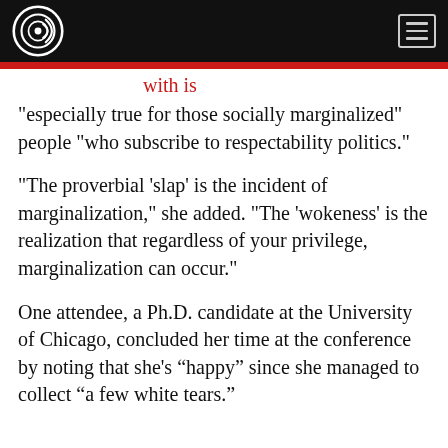[Logo and navigation bar]
"especially true for those socially marginalized" people "who subscribe to respectability politics."
"The proverbial 'slap' is the incident of marginalization," she added. "The 'wokeness' is the realization that regardless of your privilege, marginalization can occur."
One attendee, a Ph.D. candidate at the University of Chicago, concluded her time at the conference by noting that she’s “happy” since she managed to collect “a few white tears.”